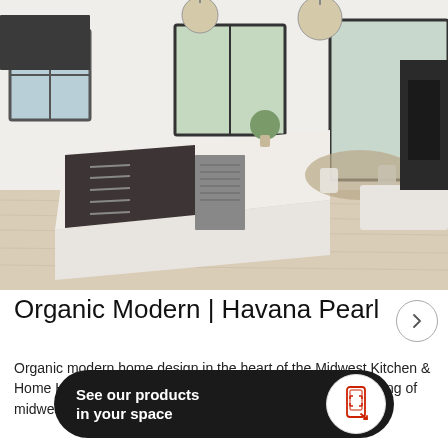[Figure (photo): Modern open-plan kitchen with large white island, dark cabinetry with stainless steel appliances, light wood floors, pendant lights, and dining/living area in background]
Organic Modern | Havana Pearl
Organic modern home design in the heart of the Midwest Kitchen & Home Highlights Clean lines, organic accents, and a sprinkling of midwest farmhouse.
See our products in your space